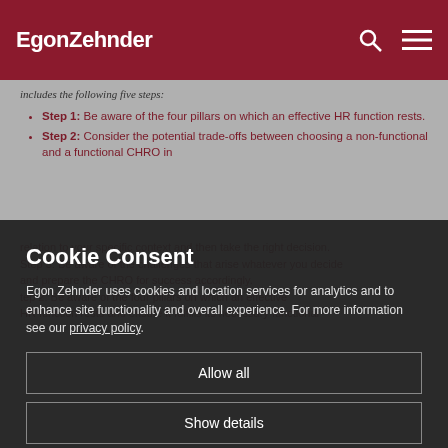EgonZehnder
includes the following five steps:
Step 1: Be aware of the four pillars on which an effective HR function rests.
Step 2: Consider the potential trade-offs between choosing a non-functional and a functional CHRO in
Cookie Consent
Egon Zehnder uses cookies and location services for analytics and to enhance site functionality and overall experience. For more information see our privacy policy.
Allow all
Show details